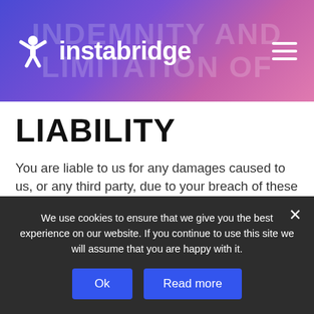instabridge
LIABILITY
You are liable to us for any damages caused to us, or any third party, due to your breach of these Terms of Service, including but not limited to the misuse of the Service. Furthermore, you agree to indemnify us in relation to any claims, costs (including reasonable legal costs) damages, expenses, liabilities and losses incurred by us arising in any manner in relation to
We use cookies to ensure that we give you the best experience on our website. If you continue to use this site we will assume that you are happy with it.